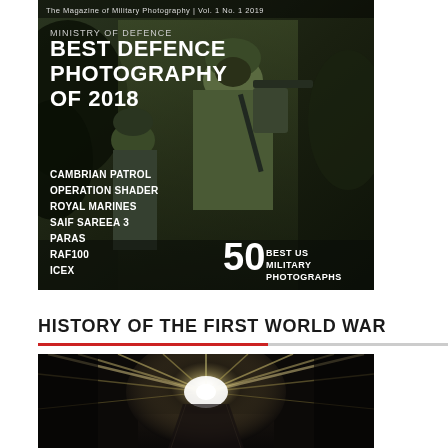[Figure (photo): Magazine cover: 'The Magazine of Military Photography Vol. 1 No. 1 2019'. Ministry of Defence Best Defence Photography of 2018. Features soldiers in full combat gear. Lists: Cambrian Patrol, Operation Shader, Royal Marines, Saif Sareea 3, Paras, RAF100, ICEX. Also features '50 Best US Military Photographs'.]
HISTORY OF THE FIRST WORLD WAR
[Figure (photo): Dark atmospheric photograph showing bright radial light beams streaking outward from a central point, resembling searchlights or a star burst effect, over a dark landscape.]